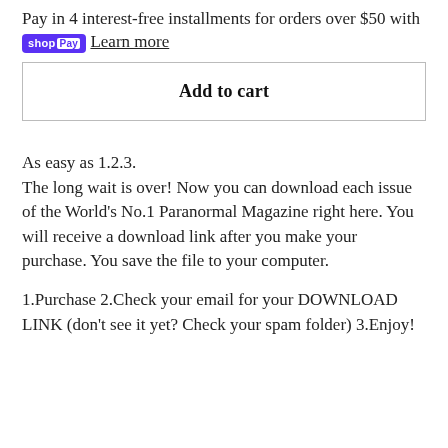Pay in 4 interest-free installments for orders over $50 with shopPay Learn more
Add to cart
As easy as 1.2.3.
The long wait is over!  Now you can download each issue of the World's No.1 Paranormal Magazine right here.  You will receive a download link after you make your purchase.  You save the file to your computer.
1.Purchase 2.Check your email for your DOWNLOAD LINK (don't see it yet? Check your spam folder) 3.Enjoy!